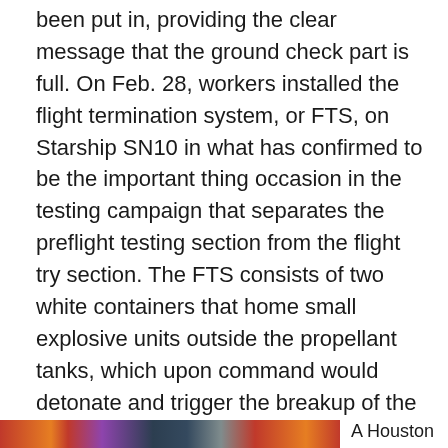been put in, providing the clear message that the ground check part is full. On Feb. 28, workers installed the flight termination system, or FTS, on Starship SN10 in what has confirmed to be the important thing occasion in the testing campaign that separates the preflight testing section from the flight try section. The FTS consists of two white containers that home small explosive units outside the propellant tanks, which upon command would detonate and trigger the breakup of the automobile in the event of any deviations from the deliberate flight path. The point of set up within the timeline of the earlier test campaigns of Starships SN8 and SN9 have both shown a consistent pattern of when the FTS gets installed, relative to the test flight occuring.
[Figure (photo): A colorful image strip showing partial photos at the bottom of the page]
A Houston